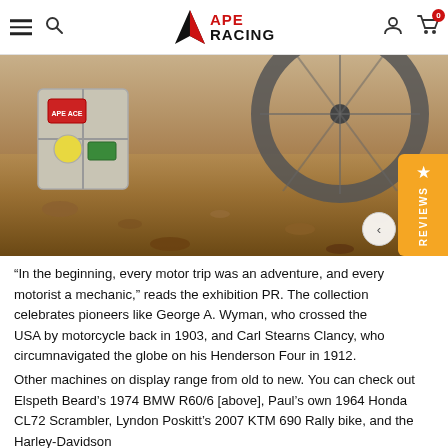APE RACING
[Figure (photo): Muddy off-road motorcycle scene showing a large spoked wheel and a luggage box with stickers on a dirt/gravel surface]
“In the beginning, every motor trip was an adventure, and every motorist a mechanic,” reads the exhibition PR. The collection celebrates pioneers like George A. Wyman, who crossed the USA by motorcycle back in 1903, and Carl Stearns Clancy, who circumnavigated the globe on his Henderson Four in 1912.
Other machines on display range from old to new. You can check out Elspeth Beard’s 1974 BMW R60/6 [above], Paul’s own 1964 Honda CL72 Scrambler, Lyndon Poskitt’s 2007 KTM 690 Rally bike, and the Harley-Davidson